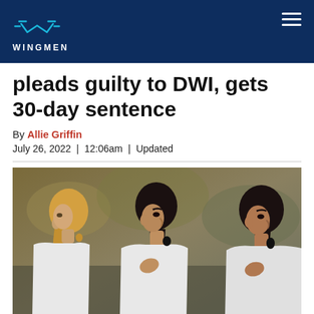WINGMEN
pleads guilty to DWI, gets 30-day sentence
By Allie Griffin
July 26, 2022 | 12:06am | Updated
[Figure (photo): Three women in white athletic jackets standing in a line, appearing to be at a sports event during an anthem or ceremony, looking solemnly to the right.]